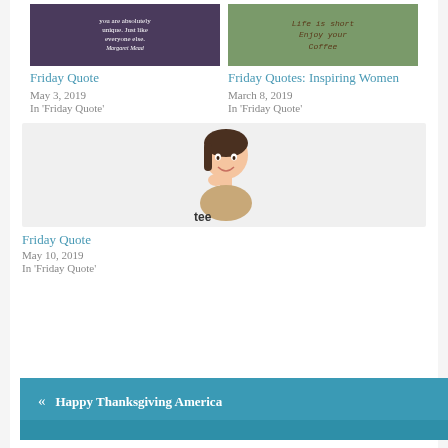[Figure (photo): Dark purple background with white text quote: 'you are absolutely unique. Just like everyone else.' Margaret Mead]
Friday Quote
May 3, 2019
In 'Friday Quote'
[Figure (photo): Outdoor wooden sign in green foliage reading 'Life is short Enjoy your Coffee']
Friday Quotes: Inspiring Women
March 8, 2019
In 'Friday Quote'
[Figure (illustration): Cartoon avatar of a woman with dark hair, smiling, hand at chin, labeled 'tee' at the bottom]
Friday Quote
May 10, 2019
In 'Friday Quote'
« Happy Thanksgiving America